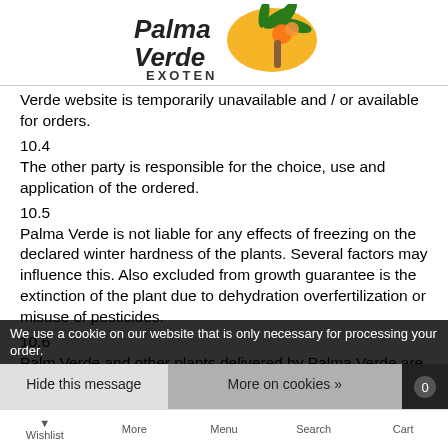Palma Verde Exoten logo
Verde website is temporarily unavailable and / or available for orders.
10.4
The other party is responsible for the choice, use and application of the ordered.
10.5
Palma Verde is not liable for any effects of freezing on the declared winter hardness of the plants. Several factors may influence this. Also excluded from growth guarantee is the extinction of the plant due to dehydration overfertilization or misuse of pesticides.
10.6
Palm Verde and other plants delivered by Palma Verde are of good quality and well-rooted. On these palms and other plants you get 2 months warranty after purchase. The guarantee applies to all hardy plants planted in full soil. (For all plants, point 10.5 applies).
We use a cookie on our website that is only necessary for processing your order.
Hide this message
More on cookies »
Wishlist   More   Menu   Search   Cart 0